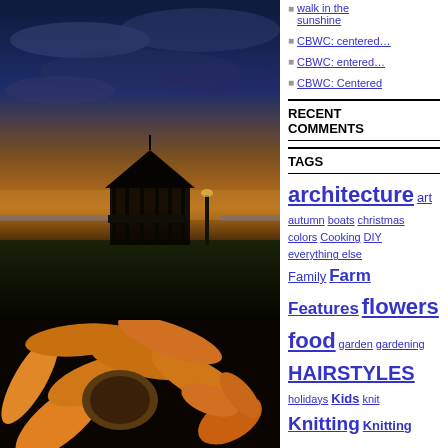[Figure (photo): Sunset photo of a gazebo silhouetted against an orange and blue sky near a waterfront]
walk in the sunshine
CBWC: centered…
CBWC: entered…
CBWC: Centered
RECENT COMMENTS
TAGS
architecture art autumn boats christmas colors Cooking DIY everything else Family Farm Features flowers food garden gardening HAIRSTYLES holidays Kids knit Knitting Knitting
[Figure (photo): Close-up photo of an orange sunflower or gerbera daisy against a dark background]